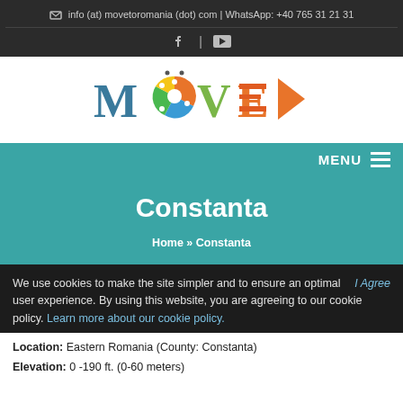info (at) movetoromania (dot) com | WhatsApp: +40 765 31 21 31
[Figure (logo): MOVE to Romania logo with colorful wheel and play button arrow]
MENU
Constanta
Home » Constanta
We use cookies to make the site simpler and to ensure an optimal user experience. By using this website, you are agreeing to our cookie policy. Learn more about our cookie policy.
Location: Eastern Romania (County: Constanta)
Elevation: 0 -190 ft. (0-60 meters)